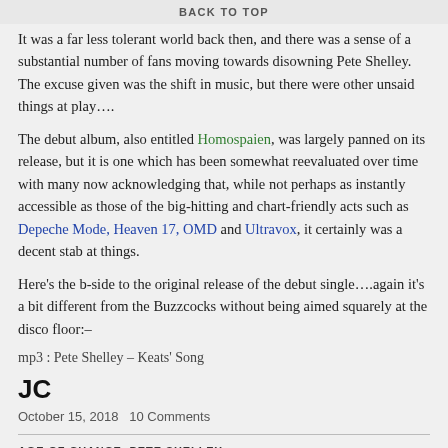BACK TO TOP
It was a far less tolerant world back then, and there was a sense of a substantial number of fans moving towards disowning Pete Shelley. The excuse given was the shift in music, but there were other unsaid things at play….
The debut album, also entitled Homospaien, was largely panned on its release, but it is one which has been somewhat reevaluated over time with many now acknowledging that, while not perhaps as instantly accessible as those of the big-hitting and chart-friendly acts such as Depeche Mode, Heaven 17, OMD and Ultravox, it certainly was a decent stab at things.
Here's the b-side to the original release of the debut single….again it's a bit different from the Buzzcocks without being aimed squarely at the disco floor:–
mp3 : Pete Shelley – Keats' Song
JC
October 15, 2018    10 Comments
AGE OF CHANCE, PETE SHELLEY
FROM THE CRUMPSALL CORRESPONDENT
Again – huge thanks to David for his patience on this as he sent it up weeks ago